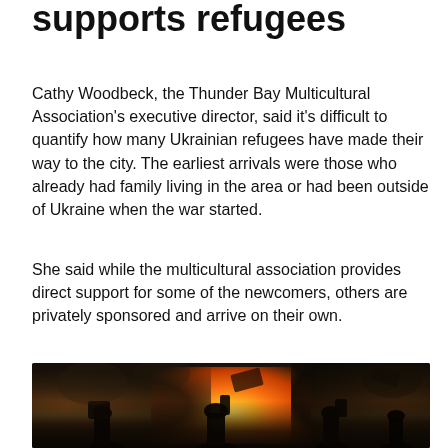supports refugees
Cathy Woodbeck, the Thunder Bay Multicultural Association's executive director, said it's difficult to quantify how many Ukrainian refugees have made their way to the city. The earliest arrivals were those who already had family living in the area or had been outside of Ukraine when the war started.
She said while the multicultural association provides direct support for some of the newcomers, others are privately sponsored and arrive on their own.
[Figure (photo): People with helmets and shields silhouetted against a large fire and smoke, appearing to be from a warzone or conflict scene in Ukraine]